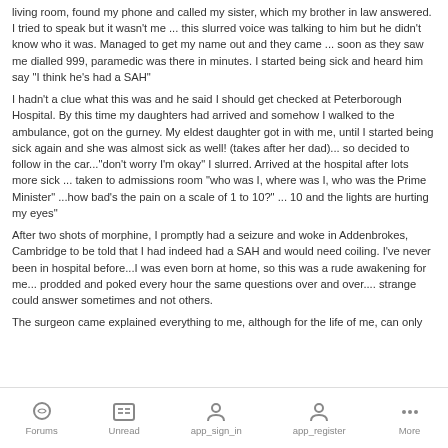living room, found my phone and called my sister, which my brother in law answered. I tried to speak but it wasn't me ... this slurred voice was talking to him but he didn't know who it was. Managed to get my name out and they came ... soon as they saw me dialled 999, paramedic was there in minutes. I started being sick and heard him say "I think he's had a SAH"
I hadn't a clue what this was and he said I should get checked at Peterborough Hospital. By this time my daughters had arrived and somehow I walked to the ambulance, got on the gurney. My eldest daughter got in with me, until I started being sick again and she was almost sick as well! (takes after her dad)... so decided to follow in the car..."don't worry I'm okay" I slurred. Arrived at the hospital after lots more sick ... taken to admissions room "who was I, where was I, who was the Prime Minister" ...how bad's the pain on a scale of 1 to 10?" ... 10 and the lights are hurting my eyes"
After two shots of morphine, I promptly had a seizure and woke in Addenbrokes, Cambridge to be told that I had indeed had a SAH and would need coiling. I've never been in hospital before...I was even born at home, so this was a rude awakening for me... prodded and poked every hour the same questions over and over.... strange could answer sometimes and not others.
The surgeon came explained everything to me, although for the life of me, can only
Forums  Unread  app_sign_in  app_register  More